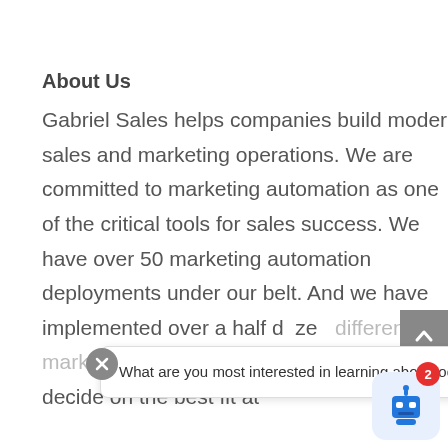About Us
Gabriel Sales helps companies build modern sales and marketing operations. We are committed to marketing automation as one of the critical tools for sales success. We have over 50 marketing automation deployments under our belt. And we have implemented over a half dozen different marketing automation platforms to help you decide on the best fit at
What are you most interested in learning about today?